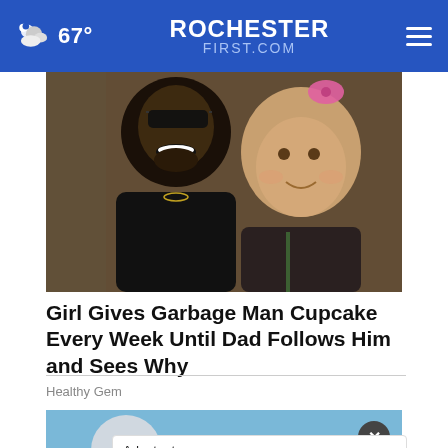67° ROCHESTER FIRST.COM
[Figure (photo): A smiling Black man with sunglasses and beard posing cheek-to-cheek with a young blonde toddler girl wearing a pink bow, outdoors.]
Girl Gives Garbage Man Cupcake Every Week Until Dad Follows Him and Sees Why
Healthy Gem
[Figure (photo): A person in blue gloves outdoors against a blue sky, partially obscured by an advertisement overlay.]
Adopt a teen. You can't imagine the reward. AdoptUSKids ad